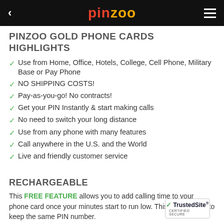pinzoo
PINZOO GOLD PHONE CARDS HIGHLIGHTS
Use from Home, Office, Hotels, College, Cell Phone, Military Base or Pay Phone
NO SHIPPING COSTS!
Pay-as-you-go! No contracts!
Get your PIN Instantly & start making calls
No need to switch your long distance
Use from any phone with many features
Call anywhere in the U.S. and the World
Live and friendly customer service
RECHARGEABLE
This FREE FEATURE allows you to add calling time to your phone card once your minutes start to run low. This way you get to keep the same PIN number.